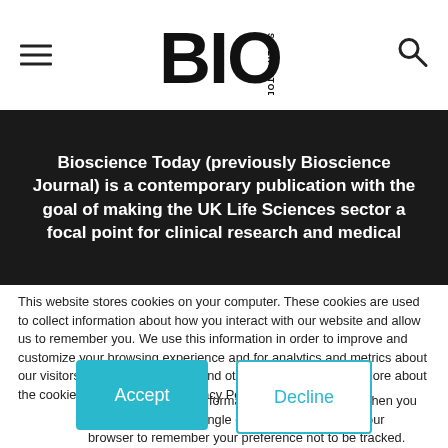BIO SCIENCE TODAY
Bioscience Today (previously Bioscience Journal) is a contemporary publication with the goal of making the UK Life Sciences sector a focal point for clinical research and medical
This website stores cookies on your computer. These cookies are used to collect information about how you interact with our website and allow us to remember you. We use this information in order to improve and customize your browsing experience and for analytics and metrics about our visitors both on this website and other media. To find out more about the cookies we use, see our Privacy Policy.
If you decline, your information won't be tracked when you visit this website. A single cookie will be used in your browser to remember your preference not to be tracked.